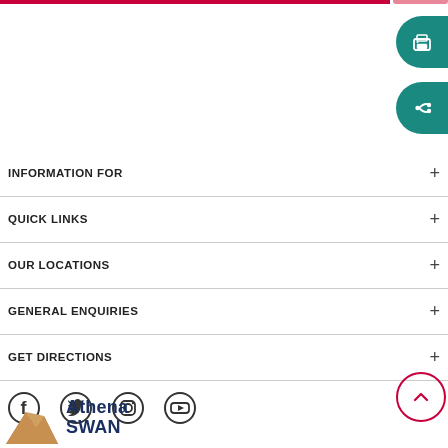INFORMATION FOR +
QUICK LINKS +
OUR LOCATIONS +
GENERAL ENQUIRIES +
GET DIRECTIONS +
[Figure (infographic): Social media icons: Facebook, Twitter, Instagram, YouTube]
[Figure (logo): Athena SWAN logo with brown mountain graphic and navy text]